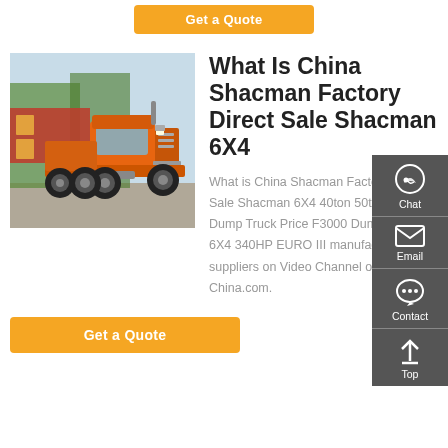Get a Quote
[Figure (photo): Orange Shacman 6X4 heavy dump truck parked outdoors with trees in background]
What Is China Shacman Factory Direct Sale Shacman 6X4
What is China Shacman Factory Direct Sale Shacman 6X4 40ton 50ton 60ton Dump Truck Price F3000 Dump Truck 6X4 340HP EURO III manufacturers & suppliers on Video Channel of Made-in-China.com.
Get a Quote